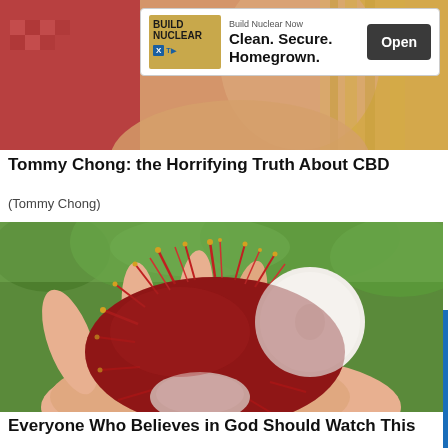[Figure (photo): Top portion of page showing a woman with blonde hair, partially obscured by an advertisement overlay]
[Figure (infographic): Advertisement banner: Build Nuclear - Build Nuclear Now. Clean. Secure. Homegrown. Open button]
Tommy Chong: the Horrifying Truth About CBD
(Tommy Chong)
[Figure (photo): A hand holding a rambutan fruit that has been split open, showing the white flesh inside, with red spiky exterior. Green foliage in background.]
Everyone Who Believes in God Should Watch This